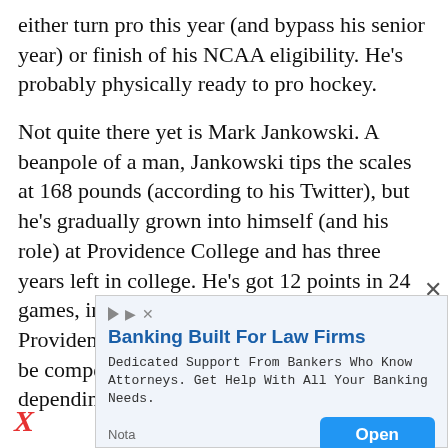either turn pro this year (and bypass his senior year) or finish of his NCAA eligibility. He's probably physically ready to pro hockey.
Not quite there yet is Mark Jankowski. A beanpole of a man, Jankowski tips the scales at 168 pounds (according to his Twitter), but he's gradually grown into himself (and his role) at Providence College and has three years left in college. He's got 12 points in 24 games, including a game-winning goal. Providence will be a playoff team and could be competitive in the conference tournament, depending on who they face.
[Figure (screenshot): Advertisement banner: 'Banking Built For Law Firms' with text 'Dedicated Support From Bankers Who Know Attorneys. Get Help With All Your Banking Needs.' and an 'Open' button. Nota branding shown. Ad close (X) button in top right corner.]